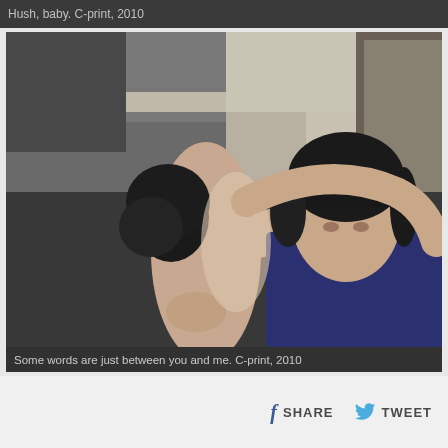Hush, baby. C-print, 2010
[Figure (photo): Two people embracing. A person with short dark hair (facing camera, wearing dark blue) holds another person from behind whose back is to the camera. The setting appears to be an indoor room with white walls and a door visible in the background. Dramatic lighting creates contrast between light and shadow.]
Some words are just between you and me. C-print, 2010
SHARE   TWEET